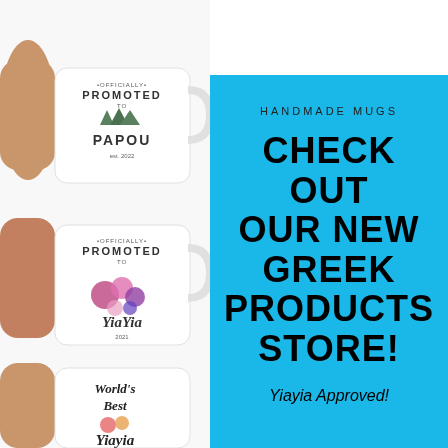[Figure (photo): Three white coffee mugs held by hands with painted nails. Top mug reads 'Officially Promoted to Papou est. 2022' with pine trees. Middle mug reads 'Officially Promoted to YiaYia 2021' with colorful flowers. Bottom mug reads 'World's Best Yiayia' with flowers, partially cropped.]
HANDMADE MUGS
CHECK OUT OUR NEW GREEK PRODUCTS STORE!
Yiayia Approved!